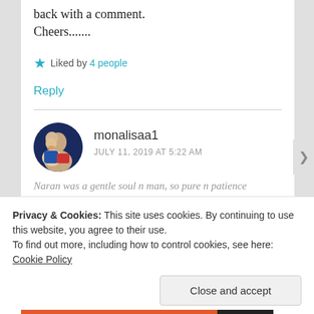back with a comment.
Cheers.......
Liked by 4 people
Reply
monalisaa1
JULY 11, 2019 AT 5:22 AM
Naran was a gentle soul n man, so pure n patience
Privacy & Cookies: This site uses cookies. By continuing to use this website, you agree to their use. To find out more, including how to control cookies, see here: Cookie Policy
Close and accept